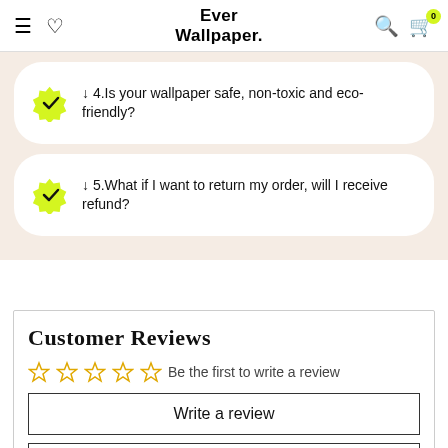Ever Wallpaper.
↓ 4.Is your wallpaper safe, non-toxic and eco-friendly?
↓ 5.What if I want to return my order, will I receive refund?
Customer Reviews
☆☆☆☆☆ Be the first to write a review
Write a review
Ask a question